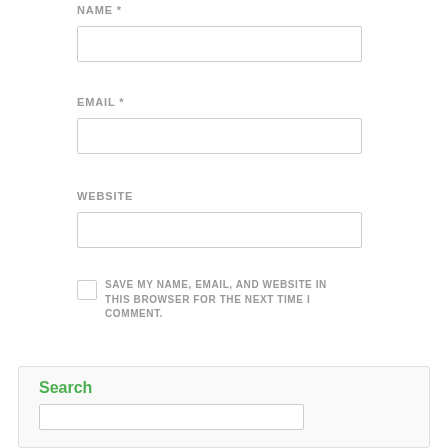NAME *
[Figure (screenshot): Text input field for NAME]
EMAIL *
[Figure (screenshot): Text input field for EMAIL]
WEBSITE
[Figure (screenshot): Text input field for WEBSITE]
SAVE MY NAME, EMAIL, AND WEBSITE IN THIS BROWSER FOR THE NEXT TIME I COMMENT.
Post Comment
Search